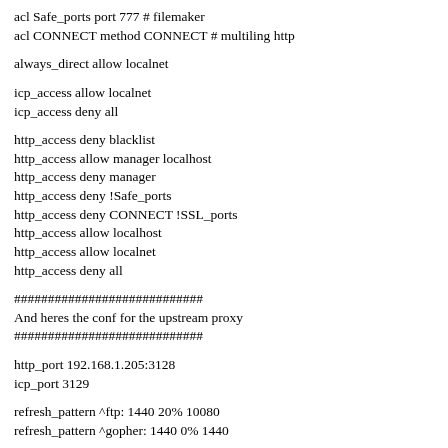acl Safe_ports port 777 # filemaker
acl CONNECT method CONNECT # multiling http
always_direct allow localnet
icp_access allow localnet
icp_access deny all
http_access deny blacklist
http_access allow manager localhost
http_access deny manager
http_access deny !Safe_ports
http_access deny CONNECT !SSL_ports
http_access allow localhost
http_access allow localnet
http_access deny all
############################
And heres the conf for the upstream proxy
############################
http_port 192.168.1.205:3128
icp_port 3129
refresh_pattern ^ftp: 1440 20% 10080
refresh_pattern ^gopher: 1440 0% 1440